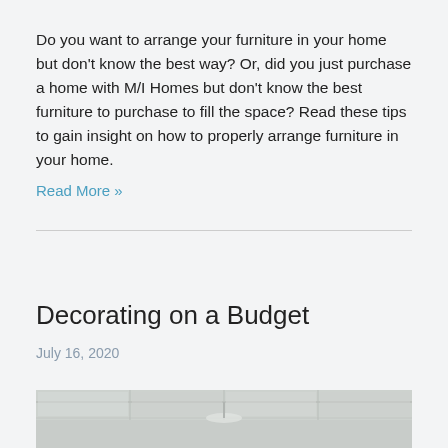Do you want to arrange your furniture in your home but don't know the best way? Or, did you just purchase a home with M/I Homes but don't know the best furniture to purchase to fill the space? Read these tips to gain insight on how to properly arrange furniture in your home. Read More »
Decorating on a Budget
July 16, 2020
[Figure (photo): Interior room photo showing a ceiling with geometric panels or coffers, appears to be a living or dining room space in neutral tones]